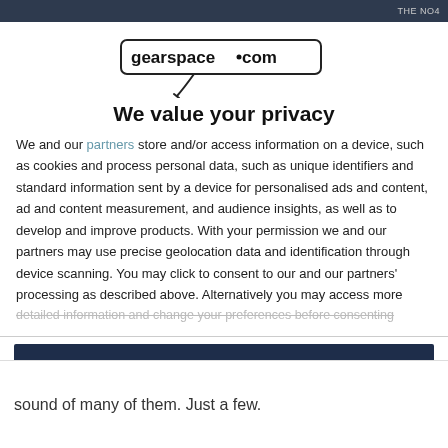THE NO4
[Figure (logo): gearspace.com logo with microphone icon below]
We value your privacy
We and our partners store and/or access information on a device, such as cookies and process personal data, such as unique identifiers and standard information sent by a device for personalised ads and content, ad and content measurement, and audience insights, as well as to develop and improve products. With your permission we and our partners may use precise geolocation data and identification through device scanning. You may click to consent to our and our partners' processing as described above. Alternatively you may access more detailed information and change your preferences before consenting
AGREE
MORE OPTIONS
sound of many of them. Just a few.